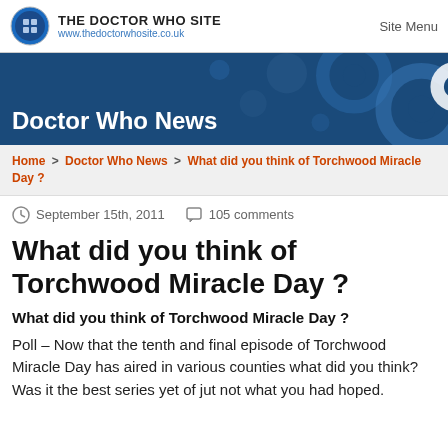THE DOCTOR WHO SITE
www.thedoctorwhosite.co.uk
Site Menu
[Figure (illustration): Blue banner with Doctor Who themed background showing gear/cog shapes and circular patterns in dark blue and grey.]
Doctor Who News
Home > Doctor Who News > What did you think of Torchwood Miracle Day ?
September 15th, 2011  105 comments
What did you think of Torchwood Miracle Day ?
What did you think of Torchwood Miracle Day ?
Poll – Now that the tenth and final episode of Torchwood Miracle Day has aired in various counties what did you think? Was it the best series yet of jut not what you had hoped.